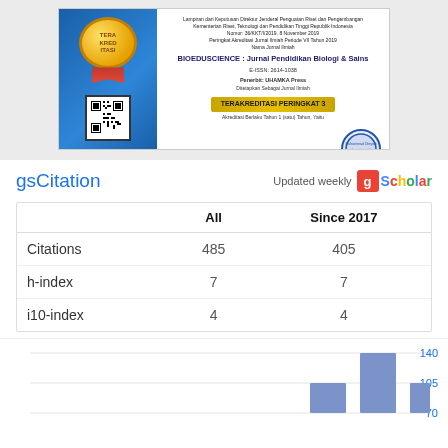[Figure (photo): Terakreditasi (accreditation) certificate for BIOEDUSCIENCE journal, showing medal/ribbon seal, QR code, text about accreditation from Indonesian Ministry of Research, and official stamp/signature.]
|  | All | Since 2017 |
| --- | --- | --- |
| Citations | 485 | 405 |
| h-index | 7 | 7 |
| i10-index | 4 | 4 |
[Figure (bar-chart): Citations per year]